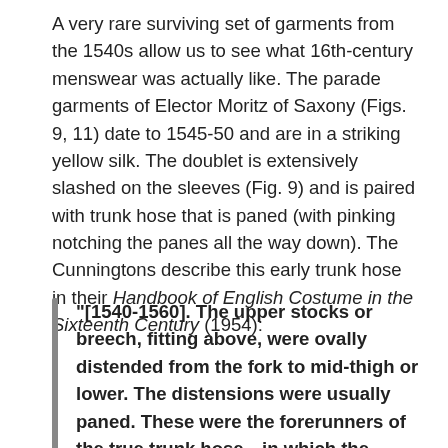A very rare surviving set of garments from the 1540s allow us to see what 16th-century menswear was actually like. The parade garments of Elector Moritz of Saxony (Figs. 9, 11) date to 1545-50 and are in a striking yellow silk. The doublet is extensively slashed on the sleeves (Fig. 9) and is paired with trunk hose that is paned (with pinking notching the panes all the way down). The Cunningtons describe this early trunk hose in their Handbook of English Costume in the Sixteenth Century (1954):
"[1540-1560]. The upper stocks or breech, fitting above, were ovally distended from the fork to mid-thigh or lower. The distensions were usually paned. These were the forerunners of the true trunk hose…in which the fulness began at the waist." (35)